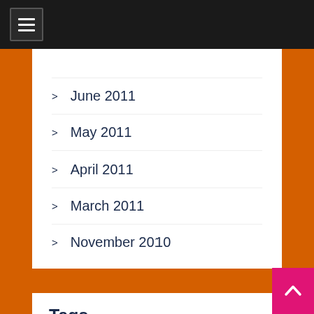Navigation menu header bar
June 2011
May 2011
April 2011
March 2011
November 2010
Tags
- vacation & tourism
art and science
Attractions
beauty
biblical studies
century
countries travel
economy